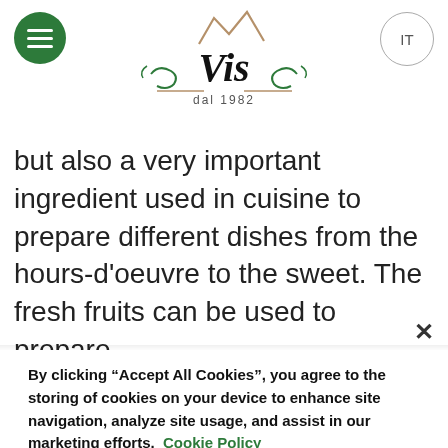Vis dal 1982 [logo with hamburger menu and IT language button]
but also a very important ingredient used in cuisine to prepare different dishes from the hours-d'oeuvre to the sweet. The fresh fruits can be used to prepare delicious jams, cakes, gratins and tarts, but the real
By clicking “Accept All Cookies”, you agree to the storing of cookies on your device to enhance site navigation, analyze site usage, and assist in our marketing efforts. Cookie Policy
Accept All Cookies
Reject All
Cookies Settings